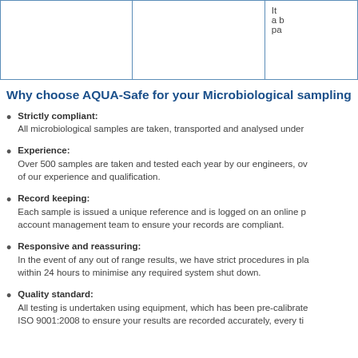|  |  | It
a b
pa |
Why choose AQUA-Safe for your Microbiological sampling
Strictly compliant: All microbiological samples are taken, transported and analysed under
Experience: Over 500 samples are taken and tested each year by our engineers, ov of our experience and qualification.
Record keeping: Each sample is issued a unique reference and is logged on an online p account management team to ensure your records are compliant.
Responsive and reassuring: In the event of any out of range results, we have strict procedures in pla within 24 hours to minimise any required system shut down.
Quality standard: All testing is undertaken using equipment, which has been pre-calibrate ISO 9001:2008 to ensure your results are recorded accurately, every ti